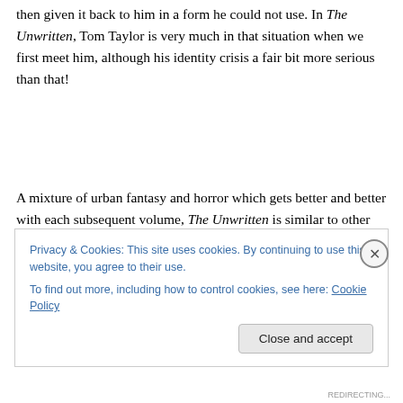then given it back to him in a form he could not use. In The Unwritten, Tom Taylor is very much in that situation when we first meet him, although his identity crisis a fair bit more serious than that!
A mixture of urban fantasy and horror which gets better and better with each subsequent volume, The Unwritten is similar to other landmark Vertigo Comics series such as The League of Extraordinary Gentleman, The Books of
Privacy & Cookies: This site uses cookies. By continuing to use this website, you agree to their use.
To find out more, including how to control cookies, see here: Cookie Policy
REDIRECTING...